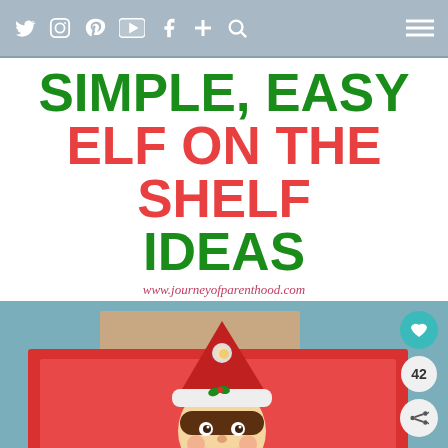Social media navigation bar with icons: Twitter, Instagram, Pinterest, YouTube, Facebook, Plus, Search, and hamburger menu
SIMPLE, EASY ELF ON THE SHELF IDEAS
www.journeyofparenthood.com
[Figure (photo): Photo of an Elf on the Shelf toy sitting inside a red tray or box, with a teal/blue-green background. The elf wears a red and white hat and has a round face. Social interaction buttons visible on the right: heart/like button, count of 42, and share button.]
Back To School Shopping Deals
Leesburg Premium Outlets